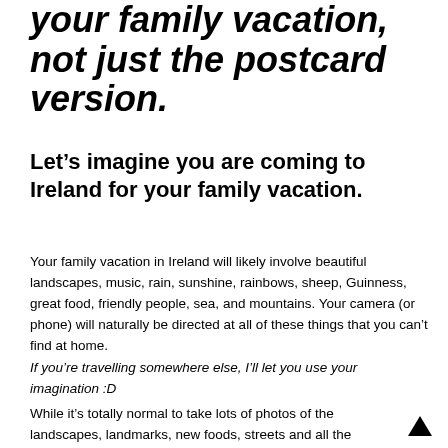your family vacation, not just the postcard version.
Let's imagine you are coming to Ireland for your family vacation.
Your family vacation in Ireland will likely involve beautiful landscapes, music, rain, sunshine, rainbows, sheep, Guinness, great food, friendly people, sea, and mountains. Your camera (or phone) will naturally be directed at all of these things that you can't find at home.
If you're travelling somewhere else, I'll let you use your imagination :D
While it's totally normal to take lots of photos of the landscapes, landmarks, new foods, streets and all the wonderful places you will come across, it's important not to come back with 100% of the